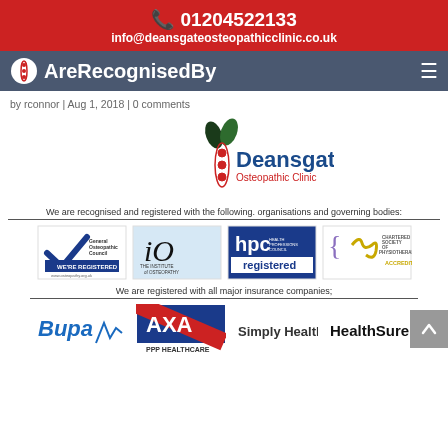📞 01204522133
info@deansgateosteopathicclinic.co.uk
[Figure (logo): Navigation bar with spine logo and AreRecognisedBy text on dark blue background with hamburger menu]
by rconnor | Aug 1, 2018 | 0 comments
[Figure (logo): Deansgate Osteopathic Clinic logo with spine graphic]
We are recognised and registered with the following organisations and governing bodies:
[Figure (logo): Four organisation logos: General Osteopathic Council (We're Registered), iO The Institute of Osteopathy, hpc registered, Chartered Society of Physiotherapy Accredita]
We are registered with all major insurance companies;
[Figure (logo): Insurance company logos: Bupa, AXA PPP Healthcare, Simply Health, HealthSure]